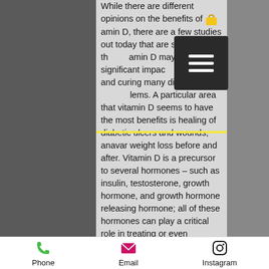While there are different opinions on the benefits of vitamin D, there are a few studies out today that are suggesting that vitamin D may have a significant impact preventing and curing many different health problems. A particular area that vitamin D seems to have the most benefits is healing of diabetic ulcers and wounds, anavar weight loss before and after. Vitamin D is a precursor to several hormones – such as insulin, testosterone, growth hormone, and growth hormone releasing hormone; all of these hormones can play a critical role in treating or even preventing disease, anavar before and after 1 month. A study found that those who get a high amount of vitamin D in their diets were 15 times more likely to have their blood sugar level drop after having a bite of a carrot or a piece of apple. The research
Phone  Email  Instagram